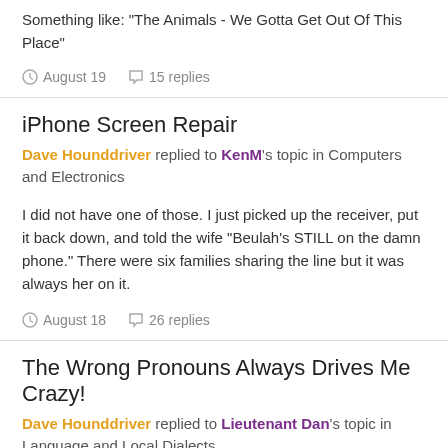Something like: "The Animals - We Gotta Get Out Of This Place"
August 19   15 replies
iPhone Screen Repair
Dave Hounddriver replied to KenM's topic in Computers and Electronics
I did not have one of those. I just picked up the receiver, put it back down, and told the wife "Beulah's STILL on the damn phone." There were six families sharing the line but it was always her on it.
August 18   26 replies
The Wrong Pronouns Always Drives Me Crazy!
Dave Hounddriver replied to Lieutenant Dan's topic in Language and Local Dialects
I understand the derivation of the phrase. I was trying to make the point it is as outdated to say "turn" off the light as it is to say "dial" the phone. But you have to excuse me as I have to go spend a